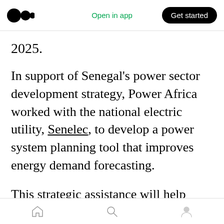Medium app header — Open in app | Get started
2025.
In support of Senegal's power sector development strategy, Power Africa worked with the national electric utility, Senelec, to develop a power system planning tool that improves energy demand forecasting.
This strategic assistance will help Senelec better forecast short and long term energy demand and plan necessary investments in power infrastructure. Without the ability to reliably predict demand, utilities can incur financial
Bottom navigation bar — Home, Search, Profile